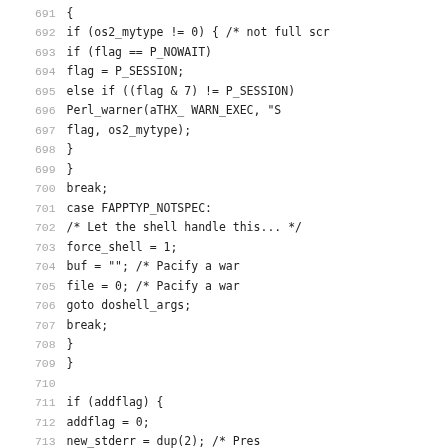[Figure (screenshot): Source code listing (C code) with line numbers 691-722, showing control flow with if/else, case statements, and function calls in a monospace font on white background.]